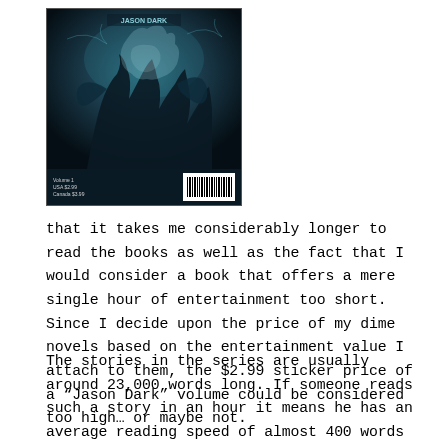[Figure (illustration): Book cover image showing dark fantasy/horror figures in teal and dark blue tones, with 'Volume 1 USA $2.99 Canada $3.99' text and a barcode at the bottom]
that it takes me considerably longer to read the books as well as the fact that I would consider a book that offers a mere single hour of entertainment too short. Since I decide upon the price of my dime novels based on the entertainment value I attach to them, the $2.99 sticker price of a “Jason Dark” volume could be considered too high… or maybe not.
The stories in the series are usually around 23,000 words long. If someone reads such a story in an hour it means he has an average reading speed of almost 400 words per minute. If this means nothing to you let me just say that that is pretty fast. I wager that few people can actually